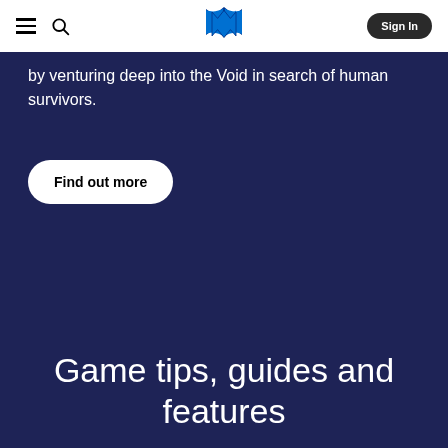PlayStation navigation bar with hamburger menu, search icon, PlayStation logo, and Sign In button
by venturing deep into the Void in search of human survivors.
Find out more
Game tips, guides and features